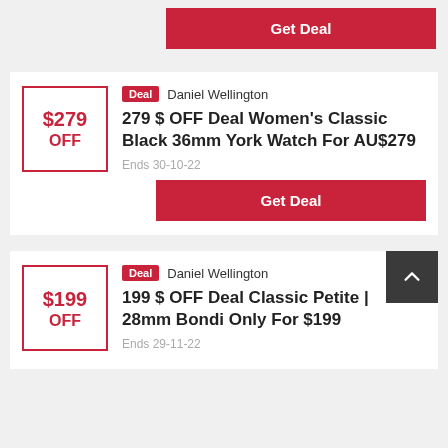Get Deal
Deal  Daniel Wellington
279 $ OFF Deal Women's Classic Black 36mm York Watch For AU$279
Ends 30-10-22
Get Deal
Deal  Daniel Wellington
199 $ OFF Deal Classic Petite | 28mm Bondi Only For $199
Ends 29-11-22